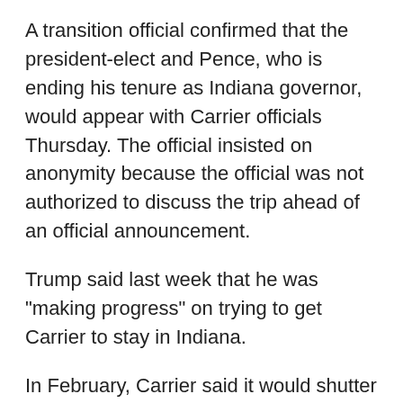A transition official confirmed that the president-elect and Pence, who is ending his tenure as Indiana governor, would appear with Carrier officials Thursday. The official insisted on anonymity because the official was not authorized to discuss the trip ahead of an official announcement.
Trump said last week that he was "making progress" on trying to get Carrier to stay in Indiana.
In February, Carrier said it would shutter its Indianapolis plant employing 1,400 workers and move its manufacturing to Mexico. The plant's workers would have been laid off over three years starting in 2017.
United Technologies Electronic Controls also